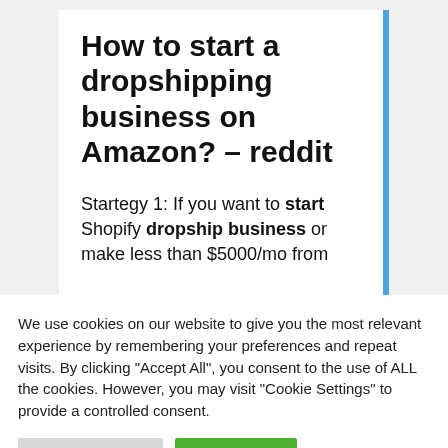How to start a dropshipping business on Amazon? – reddit
Startegy 1: If you want to start Shopify dropship business or make less than $5000/mo from
We use cookies on our website to give you the most relevant experience by remembering your preferences and repeat visits. By clicking "Accept All", you consent to the use of ALL the cookies. However, you may visit "Cookie Settings" to provide a controlled consent.